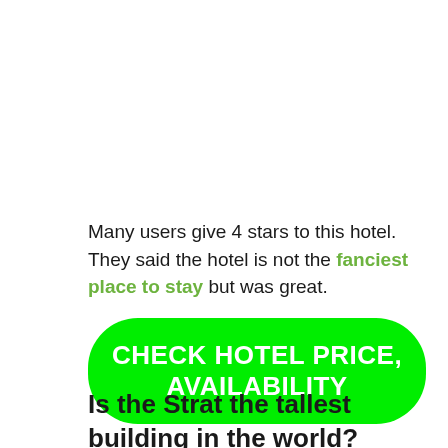Many users give 4 stars to this hotel. They said the hotel is not the fanciest place to stay but was great.
[Figure (other): Green rounded button with white bold text reading CHECK HOTEL PRICE, AVAILABILITY]
Is the Strat the tallest building in the world?